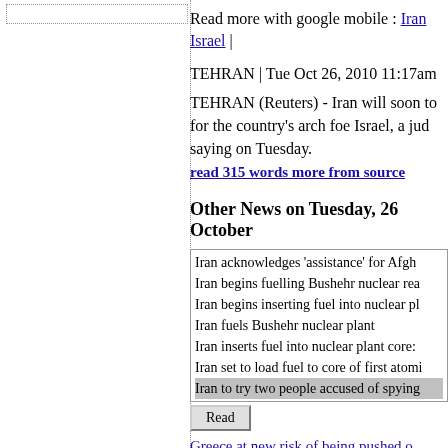[Figure (other): Dotted rectangle placeholder in left panel]
Read more with google mobile : Iran | Israel |
TEHRAN | Tue Oct 26, 2010 11:17am
TEHRAN (Reuters) - Iran will soon to for the country's arch foe Israel, a jud saying on Tuesday.
read 315 words more from source
Other News on Tuesday, 26 Octobe
Iran acknowledges 'assistance' for Afgh
Iran begins fuelling Bushehr nuclear rea
Iran begins inserting fuel into nuclear pl
Iran fuels Bushehr nuclear plant
Iran inserts fuel into nuclear plant core:
Iran set to load fuel to core of first atomi
Iran to try two people accused of spying
Read
Greece at new risk of being pushed o
Bodies of missing Tenn. mom, Jo An
Female Breasts Are Bigger Than Eye